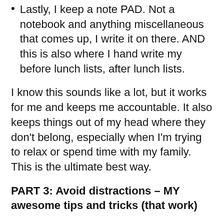Lastly, I keep a note PAD. Not a notebook and anything miscellaneous that comes up, I write it on there. AND this is also where I hand write my before lunch lists, after lunch lists.
I know this sounds like a lot, but it works for me and keeps me accountable. It also keeps things out of my head where they don't belong, especially when I'm trying to relax or spend time with my family. This is the ultimate best way.
PART 3: Avoid distractions – MY awesome tips and tricks (that work)
I put my phone away from 9am to 12pm and from 2pm to 4pm. THEN, I completely put my phone away from about 7:30pm – 8pm. It's the best habit I've ever gotten into and makes me do things with more meaning when I am near my